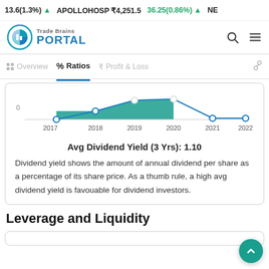13.6(1.3%) ▲  APOLLOHOSP ₹4,251.5  36.25(0.86%) ▲  NE
[Figure (logo): Trade Brains Portal logo with circular chart icon and navigation bar with search and menu icons]
Overview | % Ratios | ₹ Profit & Loss
[Figure (line-chart): Line chart showing dividend yield from 2017 to 2022 with teal bar area between 2018-2020 and blue line with circular points]
Avg Dividend Yield (3 Yrs): 1.10
Dividend yield shows the amount of annual dividend per share as a percentage of its share price. As a thumb rule, a high avg dividend yield is favouable for dividend investors.
Leverage and Liquidity